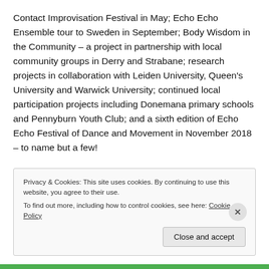Contact Improvisation Festival in May; Echo Echo Ensemble tour to Sweden in September; Body Wisdom in the Community – a project in partnership with local community groups in Derry and Strabane; research projects in collaboration with Leiden University, Queen's University and Warwick University; continued local participation projects including Donemana primary schools and Pennyburn Youth Club; and a sixth edition of Echo Echo Festival of Dance and Movement in November 2018 – to name but a few!
Finally, a big thank you to all of our current and outgoing Board members, to our core staff team, and to the Echo
Privacy & Cookies: This site uses cookies. By continuing to use this website, you agree to their use.
To find out more, including how to control cookies, see here: Cookie Policy
Close and accept